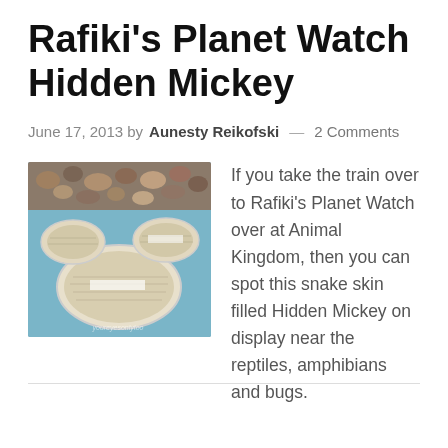Rafiki's Planet Watch Hidden Mickey
June 17, 2013 by Aunesty Reikofski — 2 Comments
[Figure (photo): Photo of three clear petri dishes arranged in a Hidden Mickey shape (one large circle on bottom, two smaller circles on top left and top right), filled with snake skin, displayed on a teal/blue surface. A watermark reading something like 'youreyesonly' appears in the lower right corner of the photo.]
If you take the train over to Rafiki's Planet Watch over at Animal Kingdom, then you can spot this snake skin filled Hidden Mickey on display near the reptiles, amphibians and bugs.